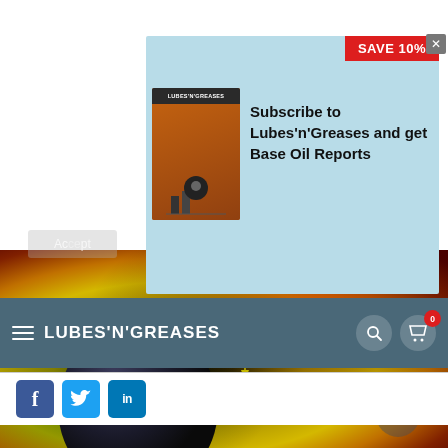This website uses cookies, including from third parties, to improve your user experience and for website analysis and statistics. You consent to our cookies if you continue to use this website.
[Figure (infographic): Advertisement banner for Lubes'n'Greases subscription with magazine image and 'SAVE 10%' badge]
LUBES'N'GREASES
[Figure (infographic): Social media share buttons: Facebook (f), Twitter (bird), LinkedIn (in)]
[Figure (illustration): Oil/lubricant flowchart diagram with glowing yellow icons on dark oil background with gradient from yellow-green to red]